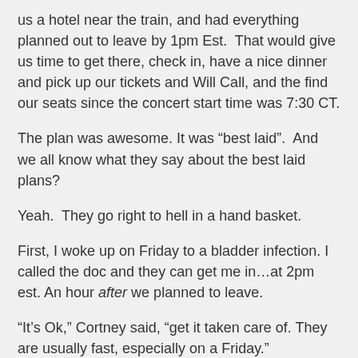us a hotel near the train, and had everything planned out to leave by 1pm Est.  That would give us time to get there, check in, have a nice dinner and pick up our tickets and Will Call, and the find our seats since the concert start time was 7:30 CT.
The plan was awesome. It was “best laid”.  And we all know what they say about the best laid plans?
Yeah.  They go right to hell in a hand basket.
First, I woke up on Friday to a bladder infection. I called the doc and they can get me in…at 2pm est. An hour after we planned to leave.
“It’s Ok,” Cortney said, “get it taken care of. They are usually fast, especially on a Friday.”
At 1pm, Cort left to take the boys to my parents’ house. I